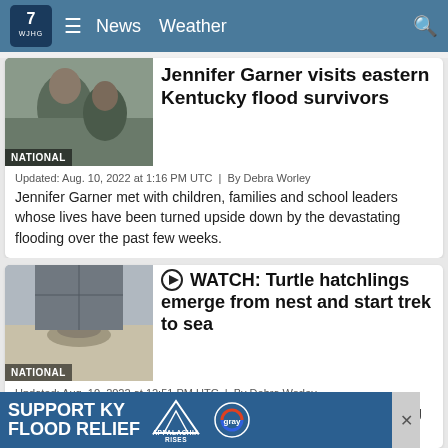WJHG 7 News Weather
[Figure (photo): Thumbnail photo labeled NATIONAL showing Jennifer Garner with children]
Jennifer Garner visits eastern Kentucky flood survivors
Updated: Aug. 10, 2022 at 1:16 PM UTC  |  By Debra Worley
Jennifer Garner met with children, families and school leaders whose lives have been turned upside down by the devastating flooding over the past few weeks.
[Figure (photo): Thumbnail photo labeled NATIONAL showing turtle hatchlings on sand]
WATCH: Turtle hatchlings emerge from nest and start trek to sea
Updated: Aug. 10, 2022 at 12:51 PM UTC  |  By Debra Worley
A close-up shows one hatchling shuffling across the sand, inching its way toward the
[Figure (infographic): SUPPORT KY FLOOD RELIEF ad banner with Appalachia Rises and Gray logos]